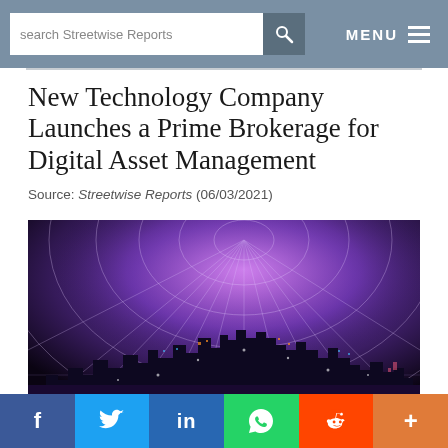search Streetwise Reports | MENU
New Technology Company Launches a Prime Brokerage for Digital Asset Management
Source: Streetwise Reports (06/03/2021)
[Figure (photo): Aerial night city skyline with glowing purple and pink digital grid lines radiating outward, representing digital connectivity and technology network infrastructure.]
f | Twitter bird | in | WhatsApp | Reddit | +